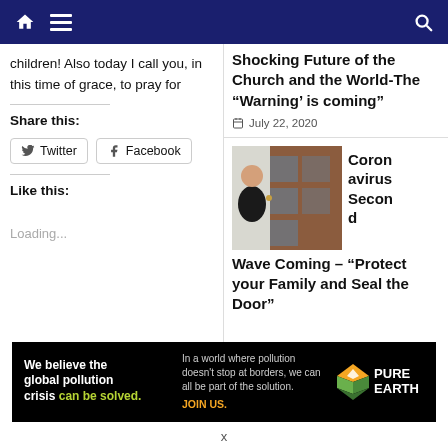Navigation bar with home, menu, and search icons
children! Also today I call you, in this time of grace, to pray for
Share this:
Twitter  Facebook
Like this:
Loading...
Shocking Future of the Church and the World-The “Warning’ is coming”
July 22, 2020
[Figure (photo): Man in black suit standing at a door with reddish-brown glass panels]
Coronavirus Second Wave Coming – “Protect your Family and Seal the Door”
[Figure (infographic): Pure Earth advertisement banner: We believe the global pollution crisis can be solved. In a world where pollution doesn’t stop at borders, we can all be part of the solution. JOIN US. Pure Earth logo.]
x